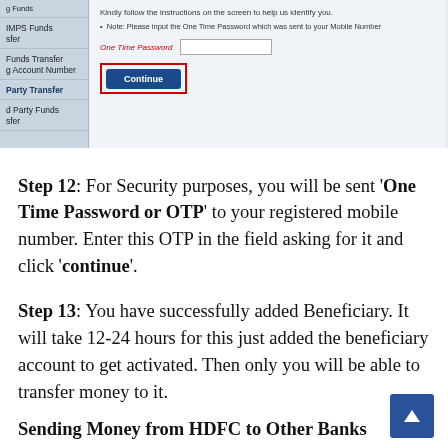[Figure (screenshot): Screenshot of a bank website OTP verification page. Left sidebar shows menu items including IMPS Funds Transfer, Funds Transfer by Account Number, Party Transfer, Party Funds Transfer. Main panel shows instructions: 'Kindly follow the instructions on the screen to help us identify you.' with a note about One Time Password sent to mobile number, an OTP input field, and a Continue button highlighted with a red rectangle border.]
Step 12: For Security purposes, you will be sent 'One Time Password or OTP' to your registered mobile number. Enter this OTP in the field asking for it and click 'continue'.
Step 13: You have successfully added Beneficiary. It will take 12-24 hours for this just added the beneficiary account to get activated. Then only you will be able to transfer money to it.
Sending Money from HDFC to Other Banks